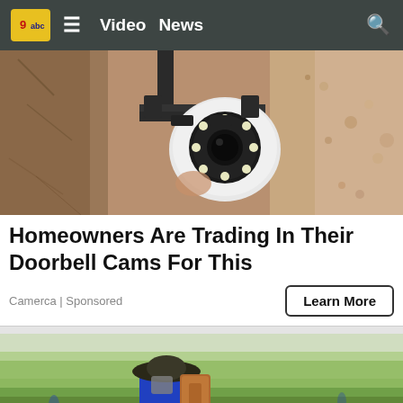Video  News
[Figure (photo): Security camera mounted on a wall bracket outside a building with textured stone/stucco wall]
Homeowners Are Trading In Their Doorbell Cams For This
Camerca | Sponsored
[Figure (photo): Person wearing wide-brim hat and blue jacket spraying pesticide or fertilizer in a green field, carrying a backpack sprayer]